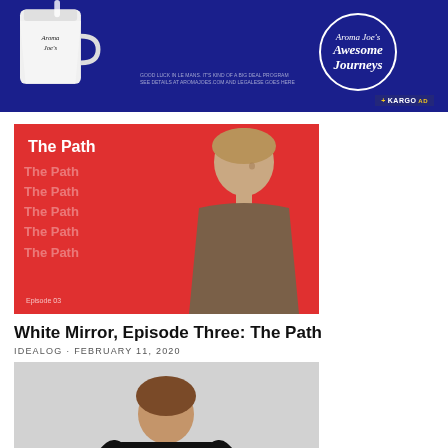[Figure (infographic): Aroma Joe's Awesome Journeys advertisement banner. Dark navy/blue background. White branded cup on left. Circular logo with cursive 'Aroma Joe's Awesome Journeys' text on right. Small fine print text below cup. KARGO AD badge in bottom right.]
[Figure (photo): Red album/cover art titled 'The Path' with repeated faded text and a woman smiling in brown jacket on the right.]
White Mirror, Episode Three: The Path
IDEALOG · FEBRUARY 11, 2020
[Figure (photo): Woman in black clothing holding a blue book/magazine, gray background.]
Start-up helps boost domestic tourism with unique gift experiences
MOLLIE EDWARDS · NOVEMBER 9, 2020
[Figure (photo): Partial image strip at bottom of page, appears to show a street or urban scene, partially visible.]